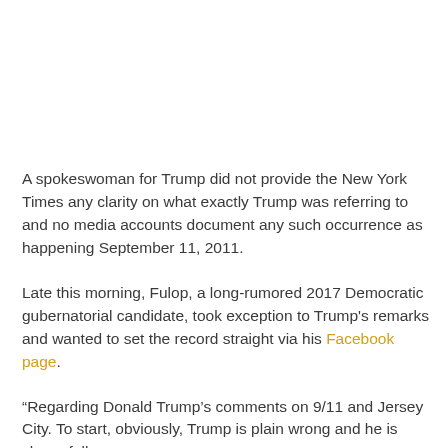A spokeswoman for Trump did not provide the New York Times any clarity on what exactly Trump was referring to and no media accounts document any such occurrence as happening September 11, 2011.
Late this morning, Fulop, a long-rumored 2017 Democratic gubernatorial candidate, took exception to Trump's remarks and wanted to set the record straight via his Facebook page.
“Regarding Donald Trump’s comments on 9/11 and Jersey City. To start, obviously, Trump is plain wrong and he is shamefully